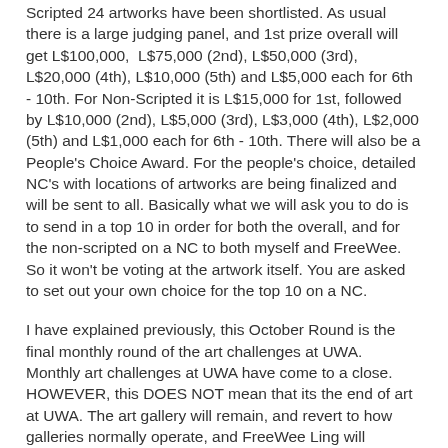Scripted 24 artworks have been shortlisted. As usual there is a large judging panel, and 1st prize overall will get L$100,000,  L$75,000 (2nd), L$50,000 (3rd), L$20,000 (4th), L$10,000 (5th) and L$5,000 each for 6th - 10th. For Non-Scripted it is L$15,000 for 1st, followed by L$10,000 (2nd), L$5,000 (3rd), L$3,000 (4th), L$2,000 (5th) and L$1,000 each for 6th - 10th. There will also be a People's Choice Award. For the people's choice, detailed NC's with locations of artworks are being finalized and will be sent to all. Basically what we will ask you to do is to send in a top 10 in order for both the overall, and for the non-scripted on a NC to both myself and FreeWee. So it won't be voting at the artwork itself. You are asked to set out your own choice for the top 10 on a NC.
I have explained previously, this October Round is the  final monthly round of the art challenges at UWA.  Monthly art challenges at UWA have come to a close. HOWEVER, this DOES NOT mean that its the end of art at UWA. The art gallery will remain, and revert to how galleries normally operate, and FreeWee Ling will continue as curator.